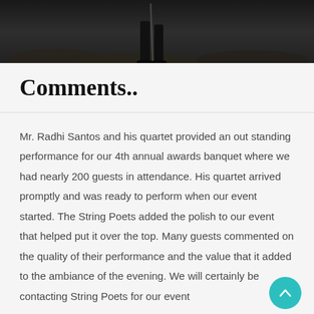[Figure (photo): Dark photograph showing a person with an instrument (likely a violin bow or similar), partially visible legs/feet, dark rocky ground background]
Comments..
Mr. Radhi Santos and his quartet provided an out standing performance for our 4th annual awards banquet where we had nearly 200 guests in attendance. His quartet arrived promptly and was ready to perform when our event started. The String Poets added the polish to our event that helped put it over the top. Many guests commented on the quality of their performance and the value that it added to the ambiance of the evening. We will certainly be contacting String Poets for our event